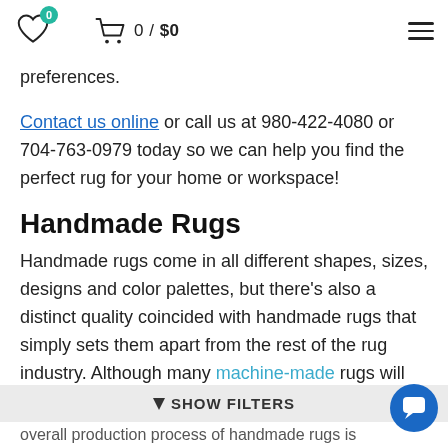0 / $0
preferences.
Contact us online or call us at 980-422-4080 or 704-763-0979 today so we can help you find the perfect rug for your home or workspace!
Handmade Rugs
Handmade rugs come in all different shapes, sizes, designs and color palettes, but there's also a distinct quality coincided with handmade rugs that simply sets them apart from the rest of the rug industry. Although many machine-made rugs will closely resemble a
overall production process of handmade rugs is